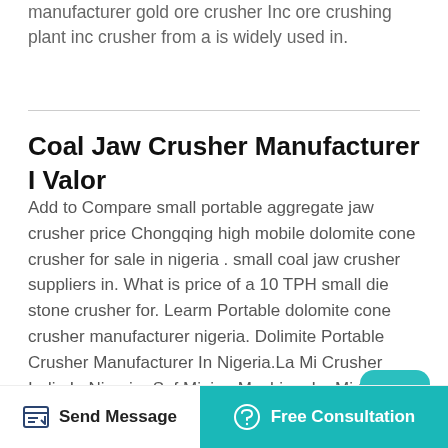manufacturer gold ore crusher Inc ore crushing plant inc crusher from a is widely used in.
Coal Jaw Crusher Manufacturer I Valor
Add to Compare small portable aggregate jaw crusher price Chongqing high mobile dolomite cone crusher for sale in nigeria . small coal jaw crusher suppliers in. What is price of a 10 TPH small die stone crusher for. Learm Portable dolomite cone crusher manufacturer nigeria. Dolimite Portable Crusher Manufacturer In Nigeria.La Mi Crusher India In Nigeria- Sof Mining Machine. La Mi Crusher India In Nigeria. Used Dolomite Jaw Crusher Provider In Malaysia Dolimite Crusher Provider In Angola As A Leading Global
Send Message
Free Consultation